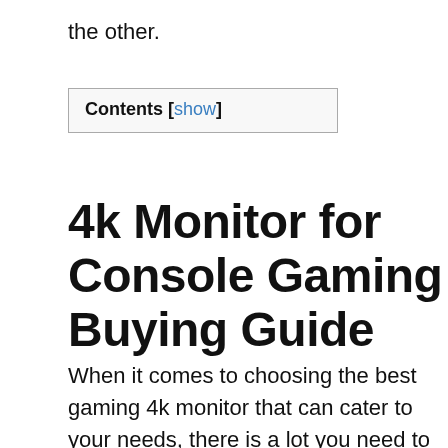the other.
Contents [show]
4k Monitor for Console Gaming Buying Guide
When it comes to choosing the best gaming 4k monitor that can cater to your needs, there is a lot you need to take into consideration. It is overwhelming to decide which one you should go for.